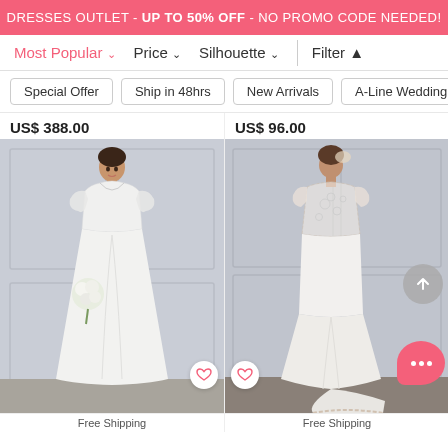DRESSES OUTLET - UP TO 50% OFF - NO PROMO CODE NEEDED!
Most Popular ∨   Price ∨   Silhouette ∨   Filter
Special Offer   Ship in 48hrs   New Arrivals   A-Line Wedding Dre
US$ 388.00
[Figure (photo): Model wearing a white A-line wedding dress with lace cap sleeves, holding a bouquet, photographed from the front against a grey paneled wall]
Free Shipping
US$ 96.00
[Figure (photo): Model wearing a white mermaid wedding dress with sheer lace back, photographed from behind against a grey paneled wall]
Free Shipping